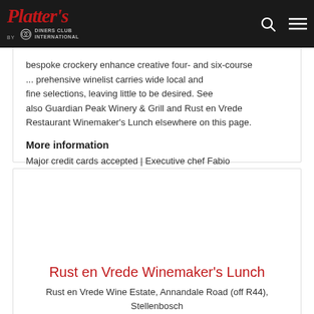Platter's by Diners Club International
bespoke crockery enhance creative four- and six-course ... comprehensive winelist carries wide local and fine selections, leaving little to be desired. See also Guardian Peak Winery & Grill and Rust en Vrede Restaurant Winemaker's Lunch elsewhere on this page.
More information
Major credit cards accepted | Executive chef Fabio Daniel | Owner Jean Engelbrecht
Rust en Vrede Winemaker's Lunch
Rust en Vrede Wine Estate, Annandale Road (off R44), Stellenbosch